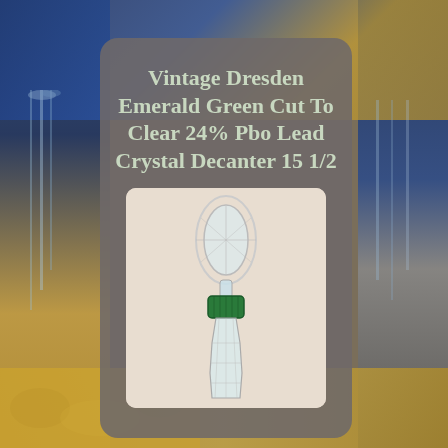[Figure (photo): Background photo of crystal glassware on a golden tablecloth, with blue and amber tones on sides]
Vintage Dresden Emerald Green Cut To Clear 24% Pbo Lead Crystal Decanter 15 1/2
[Figure (photo): Photo of a crystal decanter stopper and neck — clear crystal stopper with emerald green cut-to-clear crystal neck/body, on a light beige background]